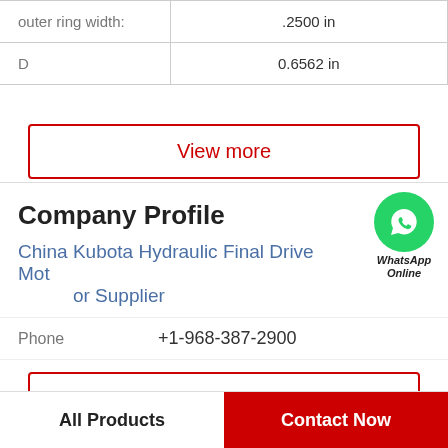| outer ring width: | .2500 in |
| D | 0.6562 in |
View more
Company Profile
China Kubota Hydraulic Final Drive Motor Supplier
Phone  +1-968-387-2900
View more
All Products   Contact Now